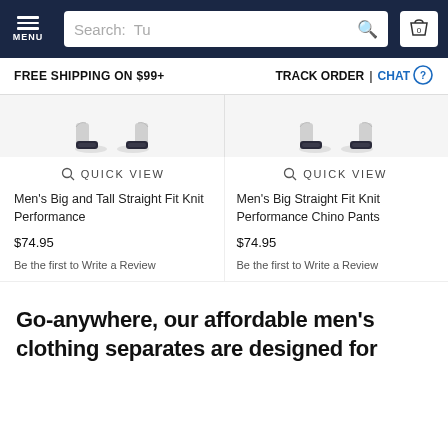MENU | Search: Tu | 0
FREE SHIPPING ON $99+ | TRACK ORDER | CHAT
[Figure (photo): Two pairs of legs/shoes shown from below the knee for two product listings]
QUICK VIEW
Men's Big and Tall Straight Fit Knit Performance
$74.95
Be the first to Write a Review
QUICK VIEW
Men's Big Straight Fit Knit Performance Chino Pants
$74.95
Be the first to Write a Review
Go-anywhere, our affordable men's clothing separates are designed for